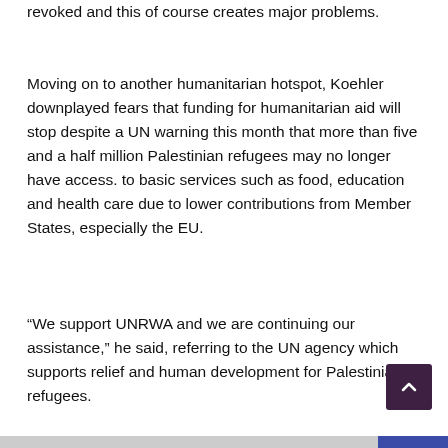revoked and this of course creates major problems.
Moving on to another humanitarian hotspot, Koehler downplayed fears that funding for humanitarian aid will stop despite a UN warning this month that more than five and a half million Palestinian refugees may no longer have access. to basic services such as food, education and health care due to lower contributions from Member States, especially the EU.
“We support UNRWA and we are continuing our assistance,” he said, referring to the UN agency which supports relief and human development for Palestinian refugees.
[Figure (other): Bottom navigation bar with image thumbnails and a blue section on the right]